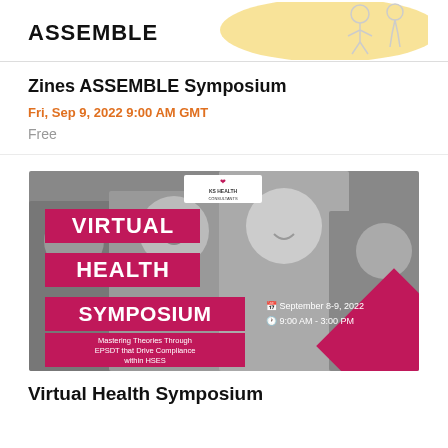[Figure (illustration): ASSEMBLE banner with illustrated figure on yellow/white background]
Zines ASSEMBLE Symposium
Fri, Sep 9, 2022 9:00 AM GMT
Free
[Figure (infographic): Virtual Health Symposium promotional image: black and white photo of children, magenta text boxes reading VIRTUAL, HEALTH, SYMPOSIUM, subtitle 'Mastering Theories Through EPSDT that Drive Compliance within HSES', date September 8-9 2022, time 9:00 AM - 3:00 PM, KS Health Consultants logo]
Virtual Health Symposium